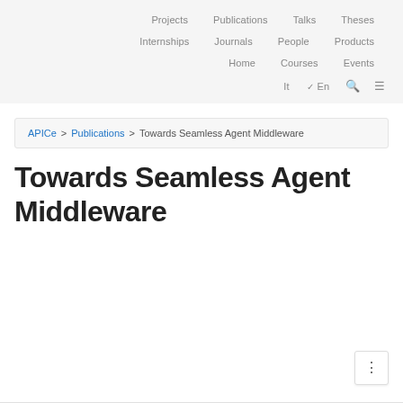Projects  Publications  Talks  Theses  Internships  Journals  People  Products  Home  Courses  Events  It  En
APICe > Publications > Towards Seamless Agent Middleware
Towards Seamless Agent Middleware